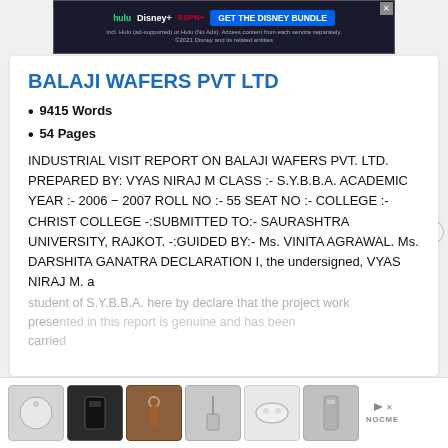[Figure (screenshot): Disney Bundle ad banner at top of page showing Hulu, Disney+, ESPN+ logos and 'GET THE DISNEY BUNDLE' call to action button]
BALAJI WAFERS PVT LTD
9415 Words
54 Pages
INDUSTRIAL VISIT REPORT ON BALAJI WAFERS PVT. LTD. PREPARED BY: VYAS NIRAJ M CLASS :- S.Y.B.B.A. ACADEMIC YEAR :- 2006 − 2007 ROLL NO :- 55 SEAT NO :- COLLEGE :- CHRIST COLLEGE -:SUBMITTED TO:- SAURASHTRA UNIVERSITY, RAJKOT. -:GUIDED BY:- Ms. VINITA AGRAWAL. Ms. DARSHITA GANATRA DECLARATION I, the undersigned, VYAS NIRAJ M. a
student of S.Y.B.B.A. here by declare that the project work presented in this report is genuine and has been carried
[Figure (screenshot): Bottom advertisement strip showing product images and NOCME brand]